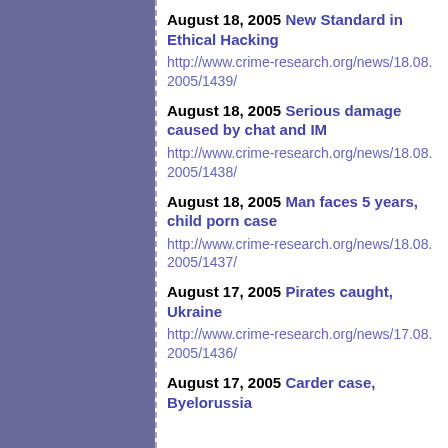August 18, 2005 New Standard in Ethical Hacking
http://www.crime-research.org/news/18.08.2005/1439/
August 18, 2005 Serious damage caused by chat and IM
http://www.crime-research.org/news/18.08.2005/1438/
August 18, 2005 Man faces 5 years, child porn case
http://www.crime-research.org/news/18.08.2005/1437/
August 17, 2005 Pirates caught, Ukraine
http://www.crime-research.org/news/17.08.2005/1436/
August 17, 2005 Carder case, Byelorussia